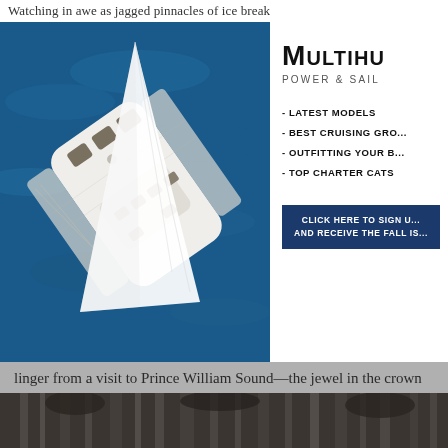Watching in awe as jagged pinnacles of ice break
[Figure (photo): Aerial view of a white sailing catamaran on deep blue water, shot from above showing the deck and sails]
[Figure (advertisement): Multihull Power & Sail advertisement with logo, bullet list of topics (Latest Models, Best Cruising Gro..., Outfitting Your B..., Top Charter Cats) and a dark blue CTA button: Click Here To Sign U... And Receive The Fall Is...]
linger from a visit to Prince William Sound—the jewel in the crown of Pacific Northwest cruising.
[Figure (photo): Partial bottom photo showing what appears to be a waterfall or cascading water, dark tones]